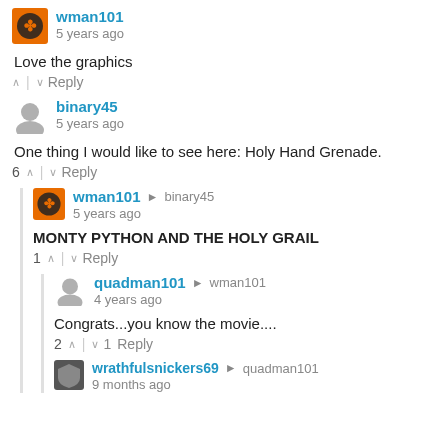[Figure (other): User avatar for wman101 - orange circular icon with black symbol]
wman101
5 years ago
Love the graphics
^ | v Reply
[Figure (other): Gray circular default avatar for binary45]
binary45
5 years ago
One thing I would like to see here: Holy Hand Grenade.
6 ^ | v Reply
[Figure (other): User avatar for wman101 - orange circular icon with black symbol]
wman101 → binary45
5 years ago
MONTY PYTHON AND THE HOLY GRAIL
1 ^ | v Reply
[Figure (other): Gray circular default avatar for quadman101]
quadman101 → wman101
4 years ago
Congrats...you know the movie....
2 ^ | v 1 Reply
[Figure (other): Dark shield avatar for wrathfulsnickers69]
wrathfulsnickers69 → quadman101
9 months ago